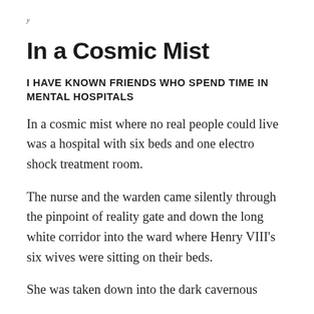y
In a Cosmic Mist
I HAVE KNOWN FRIENDS WHO SPEND TIME IN MENTAL HOSPITALS
In a cosmic mist where no real people could live was a hospital with six beds and one electro shock treatment room.
The nurse and the warden came silently through the pinpoint of reality gate and down the long white corridor into the ward where Henry VIII's six wives were sitting on their beds.
She was taken down into the dark cavernous